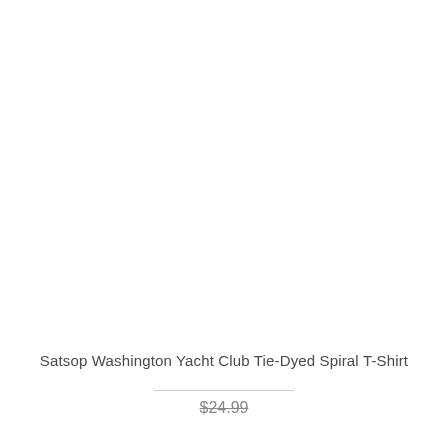[Figure (photo): Product image area — white/blank space where a tie-dyed spiral t-shirt photo would appear]
Satsop Washington Yacht Club Tie-Dyed Spiral T-Shirt
$24.99